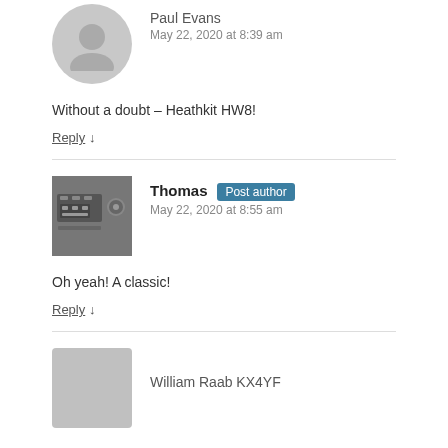Paul Evans
May 22, 2020 at 8:39 am
Without a doubt – Heathkit HW8!
Reply ↓
Thomas Post author
May 22, 2020 at 8:55 am
Oh yeah! A classic!
Reply ↓
William Raab KX4YF